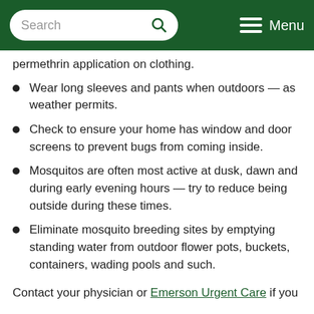Search | Menu
permethrin application on clothing.
Wear long sleeves and pants when outdoors — as weather permits.
Check to ensure your home has window and door screens to prevent bugs from coming inside.
Mosquitos are often most active at dusk, dawn and during early evening hours — try to reduce being outside during these times.
Eliminate mosquito breeding sites by emptying standing water from outdoor flower pots, buckets, containers, wading pools and such.
Contact your physician or Emerson Urgent Care if you